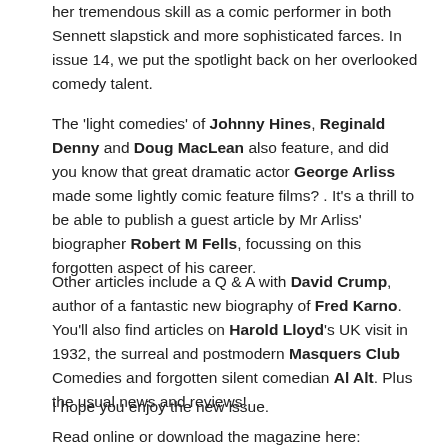her tremendous skill as a comic performer in both Sennett slapstick and more sophisticated farces. In issue 14, we put the spotlight back on her overlooked comedy talent.
The 'light comedies' of Johnny Hines, Reginald Denny and Doug MacLean also feature, and did you know that great dramatic actor George Arliss made some lightly comic feature films? . It's a thrill to be able to publish a guest article by Mr Arliss' biographer Robert M Fells, focussing on this forgotten aspect of his career.
Other articles include a Q & A with David Crump, author of a fantastic new biography of Fred Karno. You'll also find articles on Harold Lloyd's UK visit in 1932, the surreal and postmodern Masquers Club Comedies and forgotten silent comedian Al Alt. Plus the usual news and reviews!
I hope you enjoy the new issue.
Read online or download the magazine here: